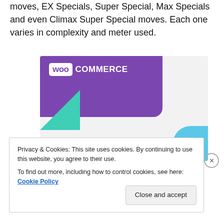throughout the night that can be spent for special moves, EX Specials, Super Special, Max Specials and even Climax Super Special moves. Each one varies in complexity and meter used.
[Figure (screenshot): WooCommerce promotional banner showing 'How to start selling subscriptions online' with purple header containing WooCommerce logo, teal triangle decoration, and blue arc in bottom right corner]
Privacy & Cookies: This site uses cookies. By continuing to use this website, you agree to their use.
To find out more, including how to control cookies, see here: Cookie Policy
Close and accept